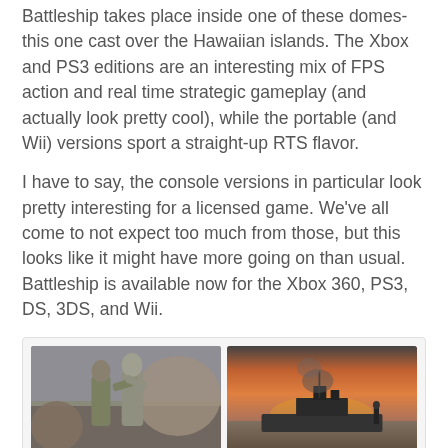Battleship takes place inside one of these domes- this one cast over the Hawaiian islands. The Xbox and PS3 editions are an interesting mix of FPS action and real time strategic gameplay (and actually look pretty cool), while the portable (and Wii) versions sport a straight-up RTS flavor.
I have to say, the console versions in particular look pretty interesting for a licensed game. We've all come to not expect too much from those, but this looks like it might have more going on than usual. Battleship is available now for the Xbox 360, PS3, DS, 3DS, and Wii.
[Figure (photo): Top-left screenshot showing two soldiers or creatures fighting in a rocky outdoor environment]
[Figure (photo): Top-right screenshot showing a battleship on water with dramatic orange and grey sky]
[Figure (photo): Bottom-left screenshot showing an explosion or battle scene with fire and debris]
[Figure (photo): Bottom-right screenshot showing robotic or alien figures in a blue-grey environment]